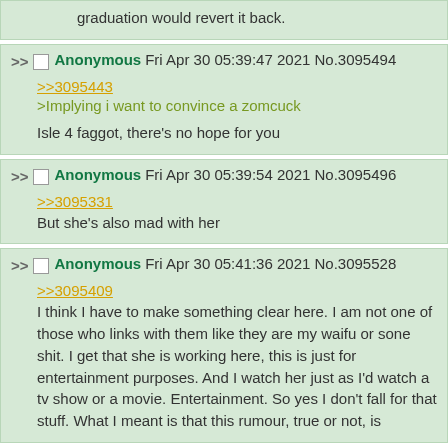graduation would revert it back.
Anonymous Fri Apr 30 05:39:47 2021 No.3095494
>>3095443
>Implying i want to convince a zomcuck
Isle 4 faggot, there's no hope for you
Anonymous Fri Apr 30 05:39:54 2021 No.3095496
>>3095331
But she's also mad with her
Anonymous Fri Apr 30 05:41:36 2021 No.3095528
>>3095409
I think I have to make something clear here. I am not one of those who links with them like they are my waifu or sone shit. I get that she is working here, this is just for entertainment purposes. And I watch her just as I'd watch a tv show or a movie. Entertainment. So yes I don't fall for that stuff. What I meant is that this rumour, true or not, is